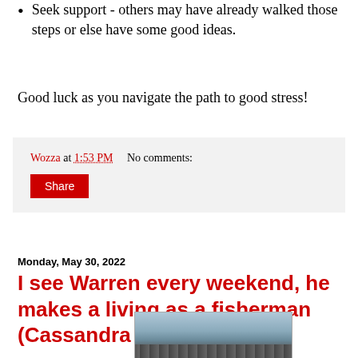Seek support - others may have already walked those steps or else have some good ideas.
Good luck as you navigate the path to good stress!
Wozza at 1:53 PM    No comments:
Share
Monday, May 30, 2022
I see Warren every weekend, he makes a living as a fisherman (Cassandra Jenkins)
[Figure (photo): A blurred close-up photo showing what appears to be mechanical or audio equipment with cylindrical parts at the bottom.]